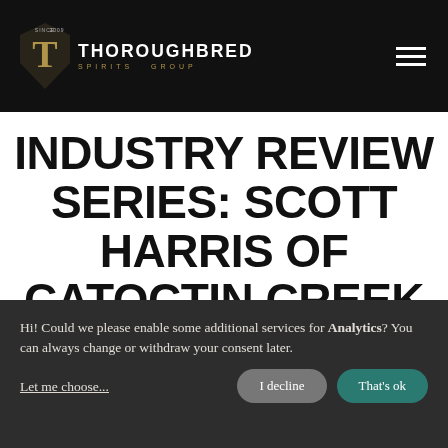THOROUGHBRED SPIRITS GROUP
INDUSTRY REVIEW SERIES: SCOTT HARRIS OF CATOCTIN CREEK
Hi! Could we please enable some additional services for Analytics? You can always change or withdraw your consent later.
Let me choose...
I decline
That's ok